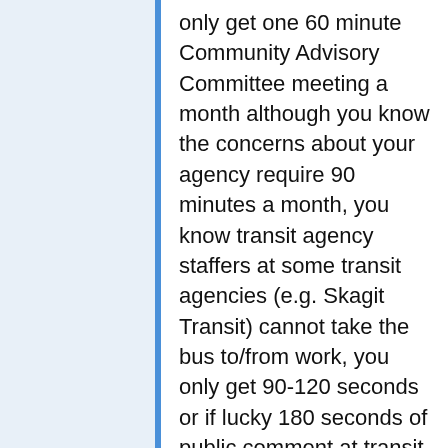only get one 60 minute Community Advisory Committee meeting a month although you know the concerns about your agency require 90 minutes a month, you know transit agency staffers at some transit agencies (e.g. Skagit Transit) cannot take the bus to/from work, you only get 90-120 seconds or if lucky 180 seconds of public comment at transit board meetings but have to travel hours on transit (4 hours round-trip to Skagit Transit for me) to attend, you get this moderator who won't allow debate at ST open houses encouraging more talking at, and worst of all you see transit board members not openly debate with one another to see how compromises are made.